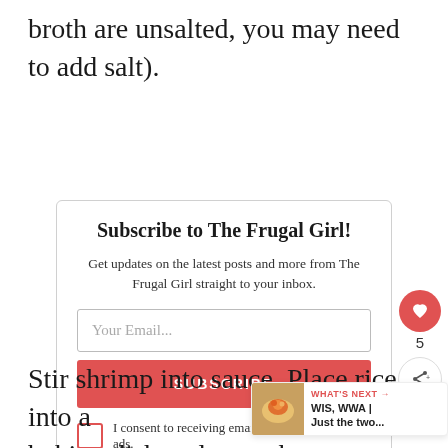broth are unsalted, you may need to add salt).
Subscribe to The Frugal Girl!
Get updates on the latest posts and more from The Frugal Girl straight to your inbox.
Your Email...
SUBSCRIBE
I consent to receiving emails and personalized ads.
Stir shrimp into sauce. Place rice into a baking dish and pour the sauce evenly over top. Cover pan with foil and bake at 350 ° F for 15-20